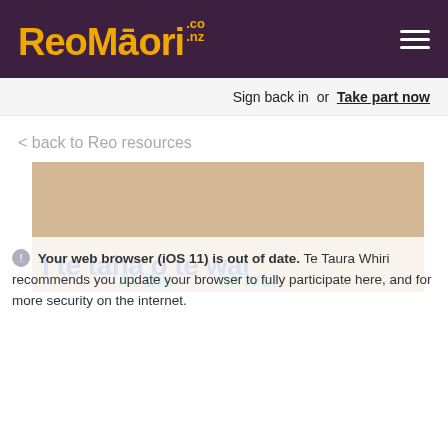ReoMāori.co.nz
Sign back in  or  Take part now
< back to Reo resources
[Figure (illustration): Decorative card with text 'I te taha o te wai' in blue and 'At the beach/river' in teal, on a sandy/tan background]
Your web browser (iOS 11) is out of date. Te Taura Whiri recommends you update your browser to fully participate here, and for more security on the internet.